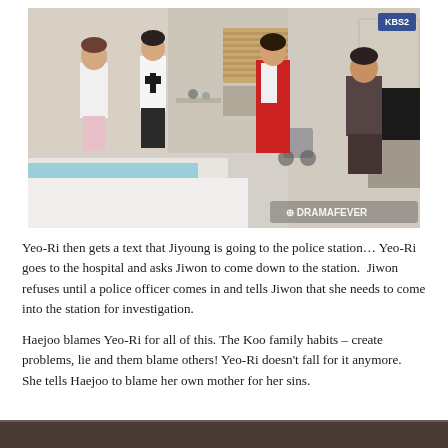[Figure (screenshot): Screenshot from Korean drama (KBS2) showing four characters in a hospital room: two women on the left (one in white top and pink skirt, one in white blouse and black skirt), a woman in a red blazer and skirt in the center, and a man in dark clothes on the right. A DRAMAFEVER watermark is visible in the bottom right corner.]
Yeo-Ri then gets a text that Jiyoung is going to the police station… Yeo-Ri goes to the hospital and asks Jiwon to come down to the station. Jiwon refuses until a police officer comes in and tells Jiwon that she needs to come into the station for investigation.
Haejoo blames Yeo-Ri for all of this. The Koo family habits – create problems, lie and them blame others! Yeo-Ri doesn't fall for it anymore.  She tells Haejoo to blame her own mother for her sins.
[Figure (screenshot): Partial screenshot from the same Korean drama showing the bottom portion of another scene.]